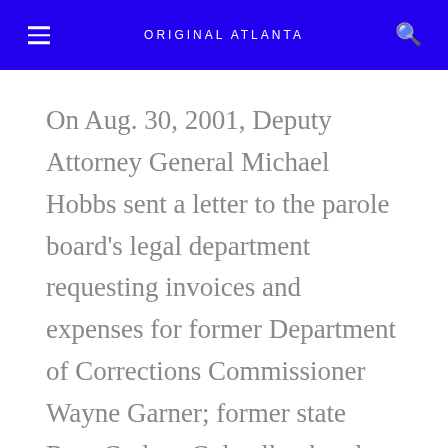ORIGINAL ATLANTA
On Aug. 30, 2001, Deputy Attorney General Michael Hobbs sent a letter to the parole board's legal department requesting invoices and expenses for former Department of Corrections Commissioner Wayne Garner; former state Rep. Carlton Colwell, who also lobbies for the parole board; the former head of the Department of Corrections